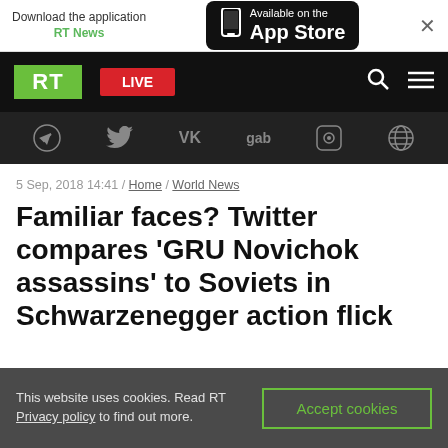[Figure (screenshot): App Store banner with 'Download the application RT News' and 'Available on the App Store' button with phone icon, plus close X button]
[Figure (screenshot): RT News website top navigation bar with green RT logo, red LIVE badge, search and menu icons on black background]
[Figure (screenshot): Social media icon bar on dark background: Telegram, Twitter, VK, gab, Rumble, and globe icon]
5 Sep, 2018 14:41 / Home / World News
Familiar faces? Twitter compares ‘GRU Novichok assassins’ to Soviets in Schwarzenegger action flick
This website uses cookies. Read RT Privacy policy to find out more. Accept cookies